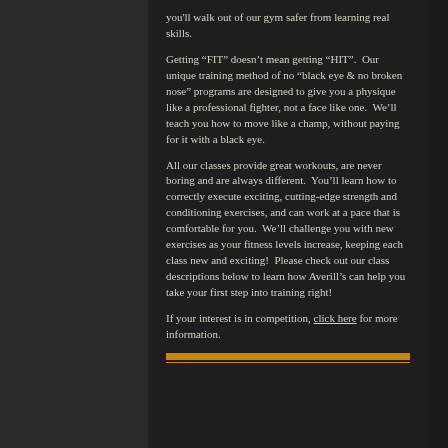you'll walk out of our gym safer from learning real skills.
Getting “FIT” doesn’t mean getting “HIT”.  Our unique training method of no “black eye & no broken nose” programs are designed to give you a physique like a professional fighter, not a face like one.  We’ll teach you how to move like a champ, without paying for it with a black eye.
All our classes provide great workouts, are never boring and are always different.  You’ll learn how to correctly execute exciting, cutting-edge strength and conditioning exercises, and can work at a pace that is comfortable for you.  We’ll challenge you with new exercises as your fitness levels increase, keeping each class new and exciting!  Please check out our class descriptions below to learn how Averill’s can help you take your first step into training right!
If your interest is in competition, click here for more information.
[Figure (other): Horizontal gold/orange divider bar with a thin line beneath it]